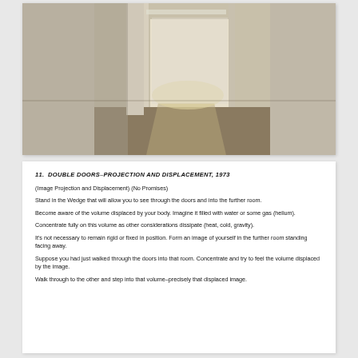[Figure (photo): Interior gallery space with white walls and partitions, showing doors and light playing on surfaces, with a dark floor. Minimalist architectural installation.]
11.  DOUBLE DOORS–PROJECTION AND DISPLACEMENT, 1973
(Image Projection and Displacement) (No Promises)
Stand in the Wedge that will allow you to see through the doors and into the further room.
Become aware of the volume displaced by your body. Imagine it filled with water or some gas (helium).
Concentrate fully on this volume as other considerations dissipate (heat, cold, gravity).
It's not necessary to remain rigid or fixed in position. Form an image of yourself in the further room standing facing away.
Suppose you had just walked through the doors into that room. Concentrate and try to feel the volume displaced by the image.
Walk through to the other and step into that volume–precisely that displaced image.